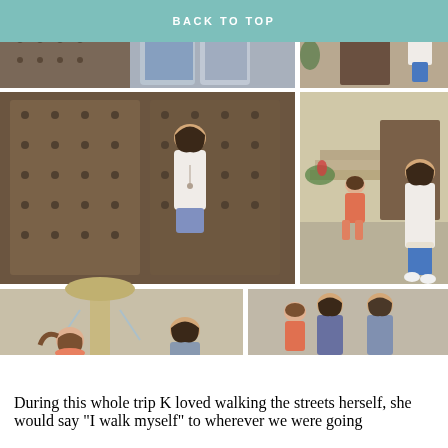BACK TO TOP
[Figure (photo): Photo collage of women and a young girl in coral dress at European street locations. Top left: two women in blue plaid and white tops. Top right: woman in white lace top with blue shorts standing by stone arch. Middle left: woman in white lace blouse in front of large wooden studded door. Middle right: young girl in coral ruffled dress and woman in white top with blue shorts standing by painted mural of alley. Bottom left: young girl in coral dress running near stone fountain, woman in gray top sitting on fountain ledge. Bottom right top: woman and young girl in coral dress sitting together. Bottom right bottom: two women and young girl in coral dress posed together.]
During this whole trip K loved walking the streets herself, she would say "I walk myself" to wherever we were going